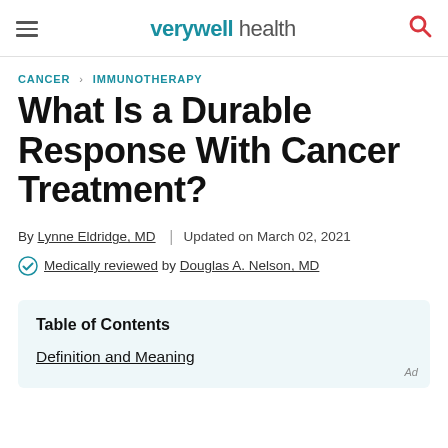verywell health
CANCER > IMMUNOTHERAPY
What Is a Durable Response With Cancer Treatment?
By Lynne Eldridge, MD | Updated on March 02, 2021
Medically reviewed by Douglas A. Nelson, MD
Table of Contents
Definition and Meaning